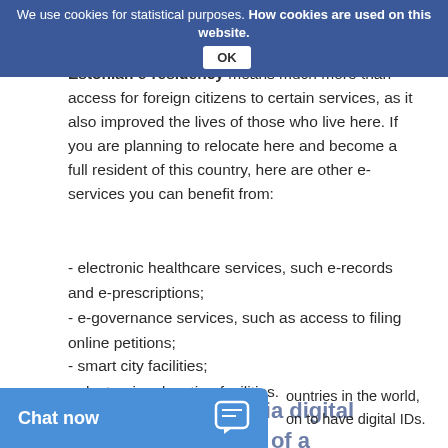We use cookies for statistical purposes. How cookies are used on this website. OK
number is growing.
Estonian e-residency means much more than access for foreign citizens to certain services, as it also improved the lives of those who live here. If you are planning to relocate here and become a full resident of this country, here are other e-services you can benefit from:
- electronic healthcare services, such e-records and e-prescriptions;
- e-governance services, such as access to filing online petitions;
- smart city facilities;
- electronic education facilities.
Why choose Estonia digital citizenship instead of a traditional residence permit
ountries in the world, on to have digital IDs.